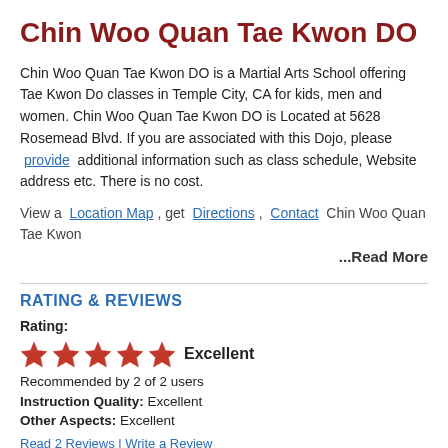Chin Woo Quan Tae Kwon DO
Chin Woo Quan Tae Kwon DO is a Martial Arts School offering Tae Kwon Do classes in Temple City, CA for kids, men and women. Chin Woo Quan Tae Kwon DO is Located at 5628 Rosemead Blvd. If you are associated with this Dojo, please provide additional information such as class schedule, Website address etc. There is no cost.
View a Location Map , get Directions , Contact Chin Woo Quan Tae Kwon
...Read More
RATING & REVIEWS
Rating:
★★★★★ Excellent
Recommended by 2 of 2 users
Instruction Quality: Excellent
Other Aspects: Excellent
Read 2 Reviews | Write a Review